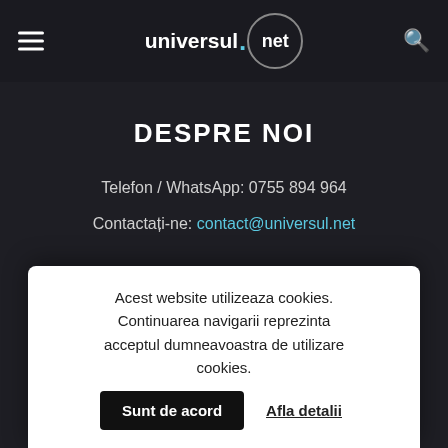universul.net
DESPRE NOI
Telefon / WhatsApp: 0755 894 964
Contactați-ne: contact@universul.net
Acest website utilizeaza cookies. Continuarea navigarii reprezinta acceptul dumneavoastra de utilizare cookies. Sunt de acord   Afla detalii